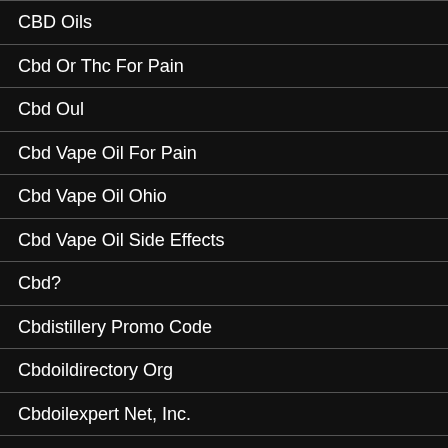CBD Oils
Cbd Or Thc For Pain
Cbd Oul
Cbd Vape Oil For Pain
Cbd Vape Oil Ohio
Cbd Vape Oil Side Effects
Cbd?
Cbdistillery Promo Code
Cbdoildirectory Org
Cbdoilexpert Net, Inc.
Cbdoilonline Uk
Cbdoilrank Com